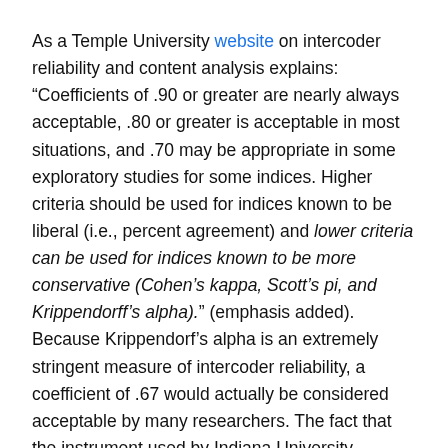As a Temple University website on intercoder reliability and content analysis explains: “Coefficients of .90 or greater are nearly always acceptable, .80 or greater is acceptable in most situations, and .70 may be appropriate in some exploratory studies for some indices. Higher criteria should be used for indices known to be liberal (i.e., percent agreement) and lower criteria can be used for indices known to be more conservative (Cohen’s kappa, Scott’s pi, and Krippendorff’s alpha).” (emphasis added). Because Krippendorf’s alpha is an extremely stringent measure of intercoder reliability, a coefficient of .67 would actually be considered acceptable by many researchers. The fact that the instrument used by Indiana University researchers yielded Krippendorff’s alphas above .84 means that they were using a highly reliable coding system.
According to the press release about the study issued by